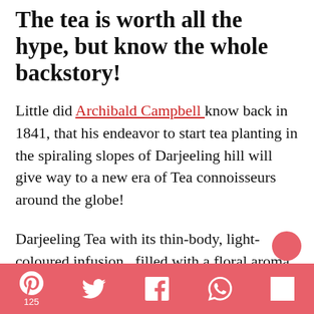The tea is worth all the hype, but know the whole backstory!
Little did Archibald Campbell know back in 1841, that his endeavor to start tea planting in the spiraling slopes of Darjeeling hill will give way to a new era of Tea connoisseurs around the globe!
Darjeeling Tea with its thin-body, light-coloured infusion,  filled with a floral aroma and an intangible spicy aftertaste is the first of all the GI tagged products of India!  A mandatory serving of Darjeeling Oolong at the table of gourmands is a matter of pride, indeed!
Social share bar: Pinterest 125, Twitter, Facebook, WhatsApp, Flipboard